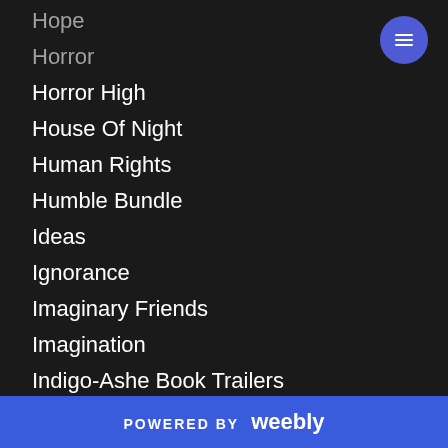Hope
Horror
Horror High
House Of Night
Human Rights
Humble Bundle
Ideas
Ignorance
Imaginary Friends
Imagination
Indigo-Ashe Book Trailers
Inner Voice
POWERED BY weebly